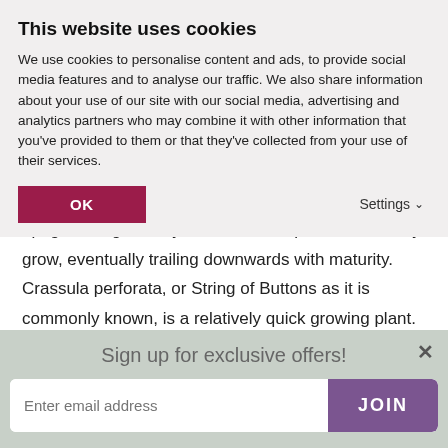This website uses cookies
We use cookies to personalise content and ads, to provide social media features and to analyse our traffic. We also share information about your use of our site with our social media, advertising and analytics partners who may combine it with other information that you've provided to them or that they've collected from your use of their services.
OK    Settings
unusual stacks of foliage. The young stems are upright, but gradually become more prostrate as they grow, eventually trailing downwards with maturity. Crassula perforata, or String of Buttons as it is commonly known, is a relatively quick growing plant. It thrives in a bright sunny spot, and makes a fine windowsill plant, mingling well with the...
Sign up for exclusive offers!
Enter email address    JOIN